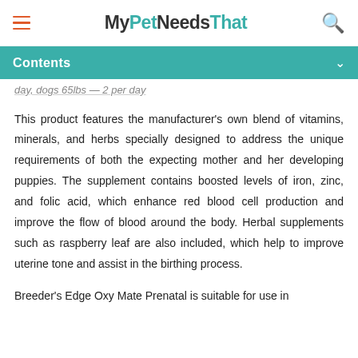MyPetNeedsThat
Contents
day, dogs 65lbs — 2 per day
This product features the manufacturer's own blend of vitamins, minerals, and herbs specially designed to address the unique requirements of both the expecting mother and her developing puppies. The supplement contains boosted levels of iron, zinc, and folic acid, which enhance red blood cell production and improve the flow of blood around the body. Herbal supplements such as raspberry leaf are also included, which help to improve uterine tone and assist in the birthing process.
Breeder's Edge Oxy Mate Prenatal is suitable for use in